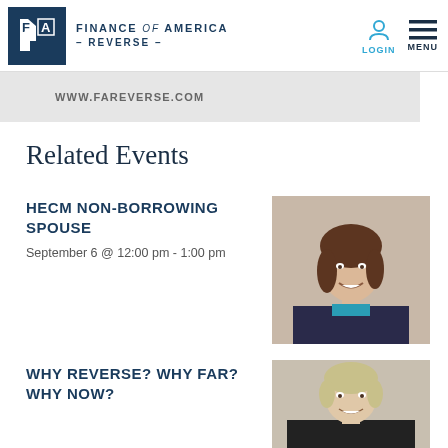FINANCE of AMERICA - REVERSE - | LOGIN | MENU
WWW.FAREVERSE.COM
Related Events
HECM NON-BORROWING SPOUSE
September 6 @ 12:00 pm - 1:00 pm
[Figure (photo): Professional headshot of a woman with long brown hair, wearing a dark blazer over a teal top, smiling]
WHY REVERSE? WHY FAR? WHY NOW?
[Figure (photo): Professional headshot of an older woman with short blonde/grey hair, wearing a dark jacket, smiling]